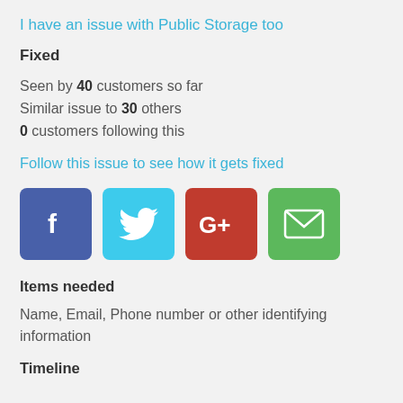I have an issue with Public Storage too
Fixed
Seen by 40 customers so far
Similar issue to 30 others
0 customers following this
Follow this issue to see how it gets fixed
[Figure (infographic): Four social sharing buttons: Facebook (blue), Twitter (light blue), Google+ (red), Email (green)]
Items needed
Name, Email, Phone number or other identifying information
Timeline